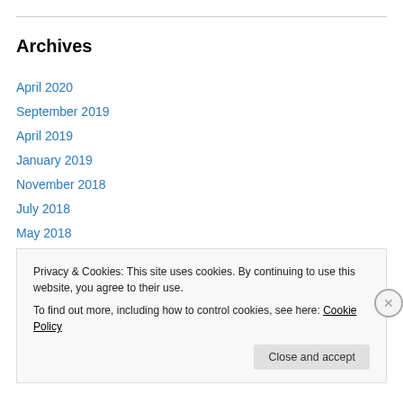Archives
April 2020
September 2019
April 2019
January 2019
November 2018
July 2018
May 2018
April 2018
February 2018
December 2017
Privacy & Cookies: This site uses cookies. By continuing to use this website, you agree to their use.
To find out more, including how to control cookies, see here: Cookie Policy
Close and accept